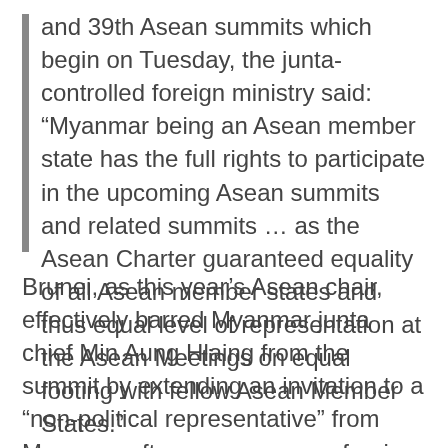and 39th Asean summits which begin on Tuesday, the junta-controlled foreign ministry said: “Myanmar being an Asean member state has the full rights to participate in the upcoming Asean summits and related summits … as the Asean Charter guaranteed equality of all Asean member states and thus equal level of representation at the Asean Meetings on equal footing with fellow Asean Member States.”
Brunei, as this year’s Asean chair, effectively barred Myanmar junta chief Min Aung Hlaing from the summit by extending an invitation to a “non-political representative” from Myanmar after an emergency foreign ministers meeting on Oct 15. This was in response to the junta’s stonewalling of attempts to